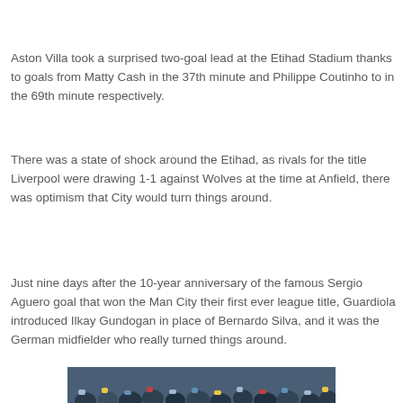Aston Villa took a surprised two-goal lead at the Etihad Stadium thanks to goals from Matty Cash in the 37th minute and Philippe Coutinho to in the 69th minute respectively.
There was a state of shock around the Etihad, as rivals for the title Liverpool were drawing 1-1 against Wolves at the time at Anfield, there was optimism that City would turn things around.
Just nine days after the 10-year anniversary of the famous Sergio Aguero goal that won the Man City their first ever league title, Guardiola introduced Ilkay Gundogan in place of Bernardo Silva, and it was the German midfielder who really turned things around.
[Figure (photo): Crowd photo at a football match, partially visible at the bottom of the page]